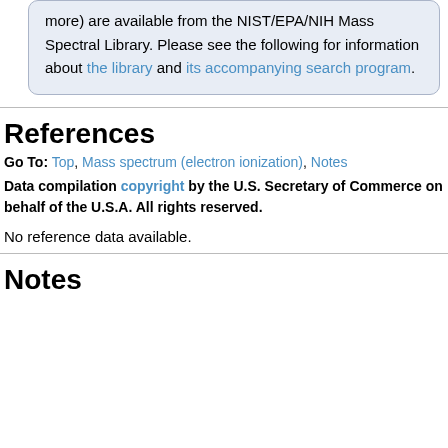more) are available from the NIST/EPA/NIH Mass Spectral Library. Please see the following for information about the library and its accompanying search program.
References
Go To: Top, Mass spectrum (electron ionization), Notes
Data compilation copyright by the U.S. Secretary of Commerce on behalf of the U.S.A. All rights reserved.
No reference data available.
Notes